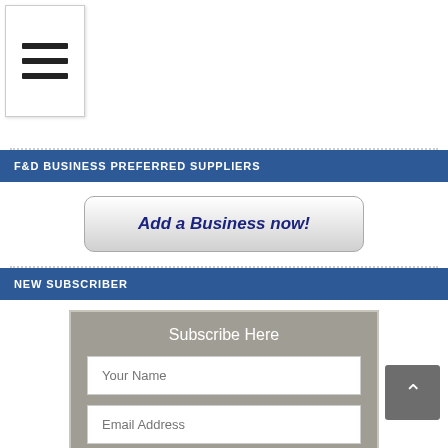[Figure (other): Hamburger menu icon button in top-left corner with three horizontal lines]
F&D BUSINESS PREFERRED SUPPLIERS
Add a Business now!
NEW SUBSCRIBER
Subscribe Here
Your Name
Email Address